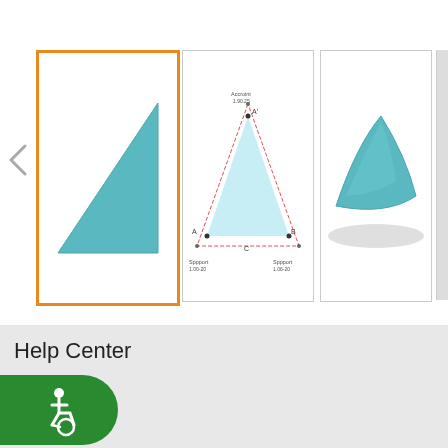[Figure (screenshot): Thumbnail carousel showing shade sail product images. First thumbnail (selected, orange border): teal triangular shade sail on white background. Second thumbnail: diagram of triangular shade sail with labeled points A, B, C and support measurements. Third thumbnail: teal triangular shade sail with shadow on white background. Fourth thumbnail (partial): metallic hardware close-up.]
Help Center
[Figure (illustration): Green accessibility/wheelchair icon button, rounded pill shape on left side of page.]